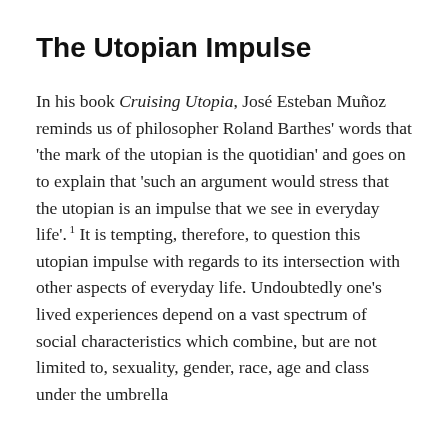The Utopian Impulse
In his book Cruising Utopia, José Esteban Muñoz reminds us of philosopher Roland Barthes' words that 'the mark of the utopian is the quotidian' and goes on to explain that 'such an argument would stress that the utopian is an impulse that we see in everyday life'. 1 It is tempting, therefore, to question this utopian impulse with regards to its intersection with other aspects of everyday life. Undoubtedly one's lived experiences depend on a vast spectrum of social characteristics which combine, but are not limited to, sexuality, gender, race, age and class under the umbrella